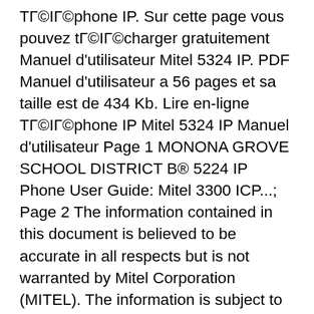ТГ©ІГ©phone IP. Sur cette page vous pouvez tГ©ІГ©charger gratuitement Manuel d'utilisateur Mitel 5324 IP. PDF Manuel d'utilisateur a 56 pages et sa taille est de 434 Kb. Lire en-ligne ТГ©ІГ©phone IP Mitel 5324 IP Manuel d'utilisateur Page 1 MONONA GROVE SCHOOL DISTRICT B® 5224 IP Phone User Guide: Mitel 3300 ICP...; Page 2 The information contained in this document is believed to be accurate in all respects but is not warranted by Mitel Corporation (MITEL). The information is subject to change without notice and should not be construed in any way as a commitment by MITEL or any of its affiliates or subsidiaries.